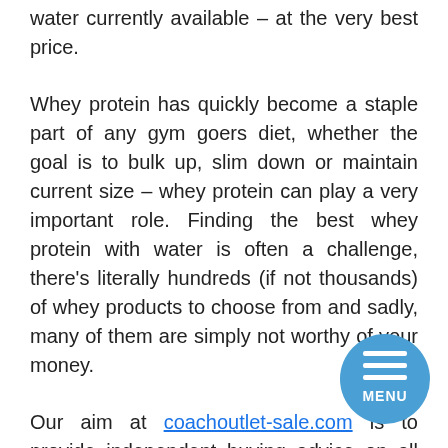water currently available – at the very best price.
Whey protein has quickly become a staple part of any gym goers diet, whether the goal is to bulk up, slim down or maintain current size – whey protein can play a very important role. Finding the best whey protein with water is often a challenge, there's literally hundreds (if not thousands) of whey products to choose from and sadly, many of them are simply not worthy of your money.
Our aim at coachoutlet-sale.com is to provide independent buying advice on all whey protein products to ensure no money is wasted and everyone finds the best whey protein with water for their goals. We do this by providing expert articles written by award winning personal trainers and offering reviews of popular whey protein products, with feedback from real users.